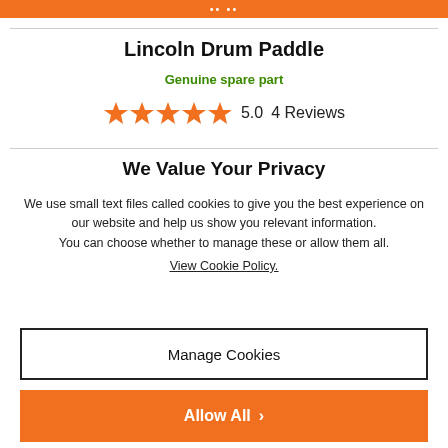Lincoln Drum Paddle
Genuine spare part
5.0   4 Reviews
We Value Your Privacy
We use small text files called cookies to give you the best experience on our website and help us show you relevant information. You can choose whether to manage these or allow them all. View Cookie Policy.
Manage Cookies
Allow All